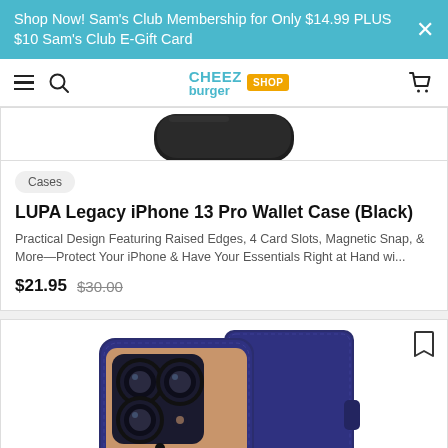Shop Now! Sam's Club Membership for Only $14.99 PLUS $10 Sam's Club E-Gift Card
[Figure (screenshot): Cheez Burger Shop navigation bar with hamburger menu, search icon, logo, and cart icon]
[Figure (photo): Partial view of black phone case from above]
Cases
LUPA Legacy iPhone 13 Pro Wallet Case (Black)
Practical Design Featuring Raised Edges, 4 Card Slots, Magnetic Snap, & More—Protect Your iPhone & Have Your Essentials Right at Hand wi...
$21.95  $30.00
[Figure (photo): Navy blue leather wallet case for iPhone 13 Pro showing both the open folio cover and the phone with exposed camera module]